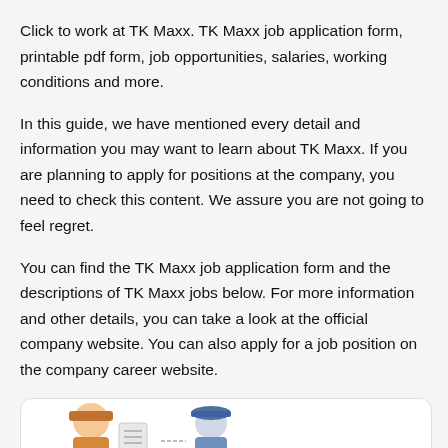Click to work at TK Maxx. TK Maxx job application form, printable pdf form, job opportunities, salaries, working conditions and more.
In this guide, we have mentioned every detail and information you may want to learn about TK Maxx. If you are planning to apply for positions at the company, you need to check this content. We assure you are not going to feel regret.
You can find the TK Maxx job application form and the descriptions of TK Maxx jobs below. For more information and other details, you can take a look at the official company website. You can also apply for a job position on the company career website.
[Figure (illustration): Partial view of an illustration inside a rounded white card at the bottom of the page, showing cartoon-style figures.]